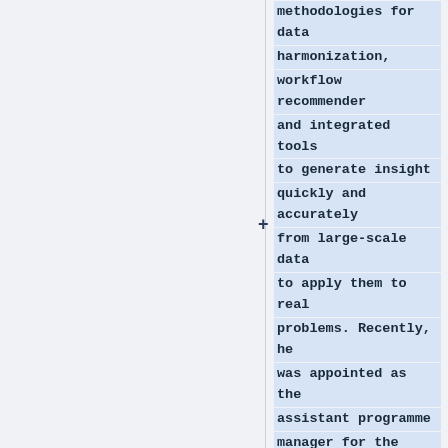methodologies for data harmonization, workflow recommender and integrated tools to generate insight quickly and accurately from large-scale data to apply them to real problems. Recently, he was appointed as the assistant programme manager for the Complex Systems programme, focusing on the data-driven approach for modelling. He has also served as a Technical Committee Member at IEEE's Emergent Technology Technical Task Force on Mimetic